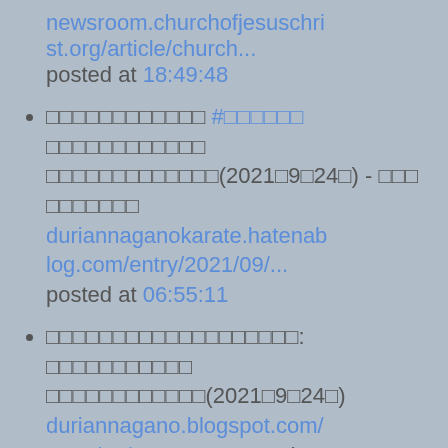newsroom.churchofjesuschrist.org/article/church... posted at 18:49:48
□□□□□□□□□□□□ #□□□□□□ □□□□□□□□□□□□ □□□□□□□□□□□□□(2021□9□24□) - □□□ □□□□□□□ duriannaganokarate.hatenablog.com/entry/2021/09/... posted at 06:55:11
□□□□□□□□□□□□□□□□□□□: □□□□□□□□□□□ □□□□□□□□□□□□(2021□9□24□) duriannagano.blogspot.com/2021/09/202192... posted at